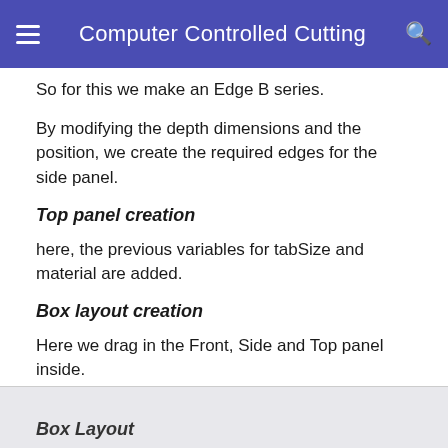Computer Controlled Cutting
So for this we make an Edge B series.
By modifying the depth dimensions and the position, we create the required edges for the side panel.
Top panel creation
here, the previous variables for tabSize and material are added.
Box layout creation
Here we drag in the Front, Side and Top panel inside.
here also the values should thread through so the width, material, depth etc. are set to the global variables.
[Figure (screenshot): Bottom of page showing start of Box Layout image/screenshot with partial heading visible]